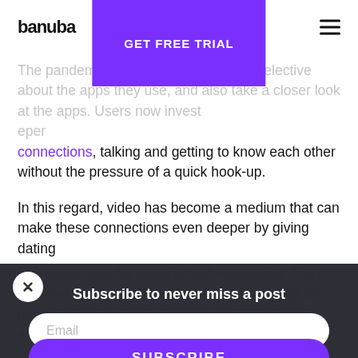banuba | GET FREE TRIAL
The pandemic has made people more selective about the apps they use. The rise of dating apps. Users now invest in deeper connections, talking and getting to know each other without the pressure of a quick hook-up.
In this regard, video has become a medium that can make these connections even deeper by giving dating app users tools for creative self-expression. They can now present themselves in ways unimagined before, when text and photos were all that was available. They can also make it more fun.
Subscribe to never miss a post
Email
SUBSCRIBE